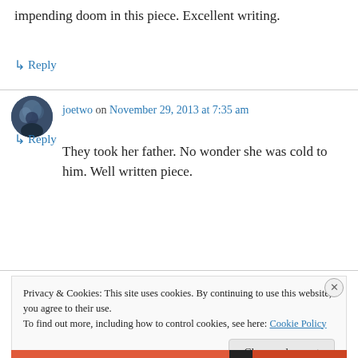impending doom in this piece. Excellent writing.
↳ Reply
joetwo on November 29, 2013 at 7:35 am
They took her father. No wonder she was cold to him. Well written piece.
↳ Reply
Privacy & Cookies: This site uses cookies. By continuing to use this website, you agree to their use.
To find out more, including how to control cookies, see here: Cookie Policy
Close and accept